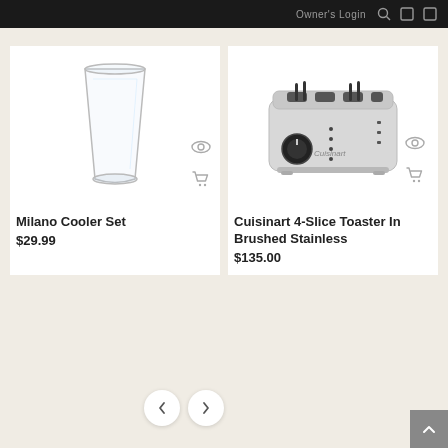Owner's Login
[Figure (photo): Clear drinking glass (Milano Cooler Set) product photo on white background]
Milano Cooler Set
$29.99
[Figure (photo): Cuisinart 4-Slice Toaster in brushed stainless steel product photo]
Cuisinart 4-Slice Toaster In Brushed Stainless
$135.00